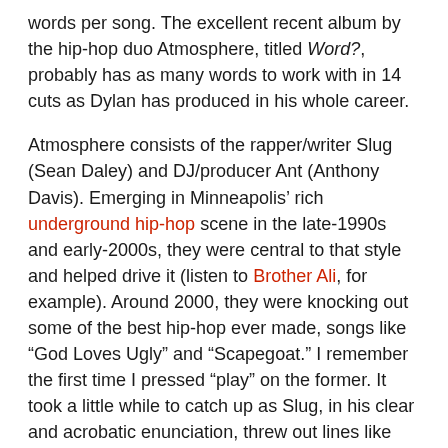words per song. The excellent recent album by the hip-hop duo Atmosphere, titled Word?, probably has as many words to work with in 14 cuts as Dylan has produced in his whole career.
Atmosphere consists of the rapper/writer Slug (Sean Daley) and DJ/producer Ant (Anthony Davis). Emerging in Minneapolis' rich underground hip-hop scene in the late-1990s and early-2000s, they were central to that style and helped drive it (listen to Brother Ali, for example). Around 2000, they were knocking out some of the best hip-hop ever made, songs like “God Loves Ugly” and “Scapegoat.” I remember the first time I pressed “play” on the former. It took a little while to catch up as Slug, in his clear and acrobatic enunciation, threw out lines like “Atmosphere, it’s just a ten-letter word. Discretion is the name of my cement-feathered burden.”